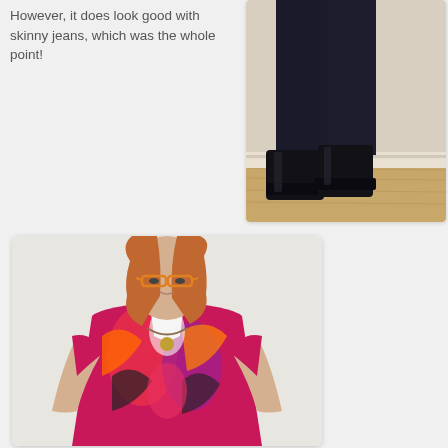However, it does look good with skinny jeans, which was the whole point!
[Figure (photo): Close-up photo of legs wearing black skinny jeans and black ankle boots, standing on a wooden floor against a beige wall.]
[Figure (photo): Photo of a woman with long reddish hair and orange-rimmed glasses, wearing a colorful patterned top with pink, red, orange, and black design, and a necklace.]